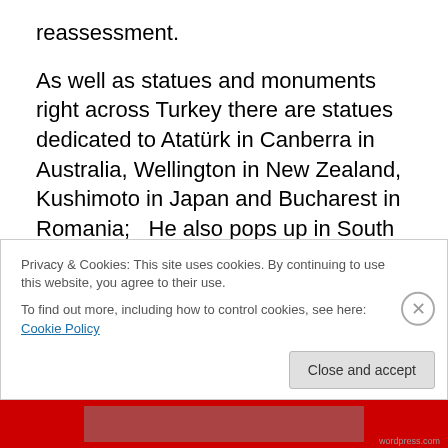reassessment.
As well as statues and monuments right across Turkey there are statues dedicated to Atatürk in Canberra in Australia, Wellington in New Zealand, Kushimoto in Japan and Bucharest in Romania;   He also pops up in South America in Santiago, Caracas  and in Mexico City.  There are streets and parks named after him in New Delhi, India; Dhaka, Bangladesh; Islamabad, Pakistan; Larkana, Pakistan; Baku, Azerbaijan, Santo Domingo, Dominican Republic, Israel, Amsterdam, Northern Cyprus
Privacy & Cookies: This site uses cookies. By continuing to use this website, you agree to their use.
To find out more, including how to control cookies, see here: Cookie Policy